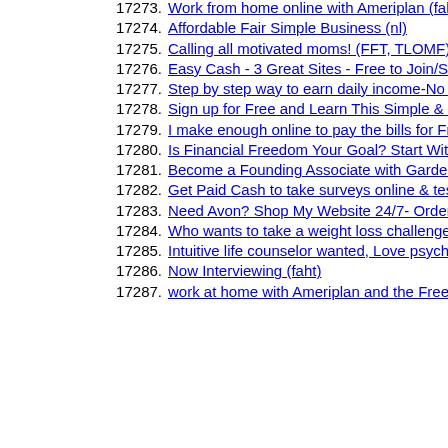17273. Work from home online with Ameriplan (faht)
17274. Affordable Fair Simple Business (nl)
17275. Calling all motivated moms! (FFT, TLOMF)
17276. Easy Cash - 3 Great Sites - Free to Join/Sign Up Bonuses/No Fees Ever (hp/ip/ss)
17277. Step by step way to earn daily income-No inventory, downline or calling dsd-fct
17278. Sign up for Free and Learn This Simple & Easy Business, Come and Join us Today at MED
17279. I make enough online to pay the bills for Free (pop)
17280. Is Financial Freedom Your Goal? Start With a Rare Ground Floor Opportunity Today! bf
17281. Become a Founding Associate with Gardenuity
17282. Get Paid Cash to take surveys online & test products at home -ps
17283. Need Avon? Shop My Website 24/7- Orders$35+ ship free or_Join_Avon_Online_$15 (Avon)
17284. Who wants to take a weight loss challenge with me? (spx)
17285. Intuitive life counselor wanted, Love psychic readers wanted ,Work online (wecanhireu
17286. Now Interviewing (faht)
17287. work at home with Ameriplan and the Freedom at home Team